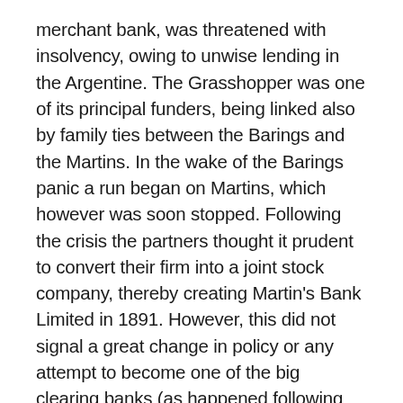merchant bank, was threatened with insolvency, owing to unwise lending in the Argentine. The Grasshopper was one of its principal funders, being linked also by family ties between the Barings and the Martins. In the wake of the Barings panic a run began on Martins, which however was soon stopped. Following the crisis the partners thought it prudent to convert their firm into a joint stock company, thereby creating Martin's Bank Limited in 1891. However, this did not signal a great change in policy or any attempt to become one of the big clearing banks (as happened following Barclays' conversion in 1896), and the shares remained largely in the hands of the Martin family. The business prospered during the golden Edwardian years, the balance sheet growing from £2.2m to £6.3m by 1918, and a dozen or so branches and agencies were opened in some of the